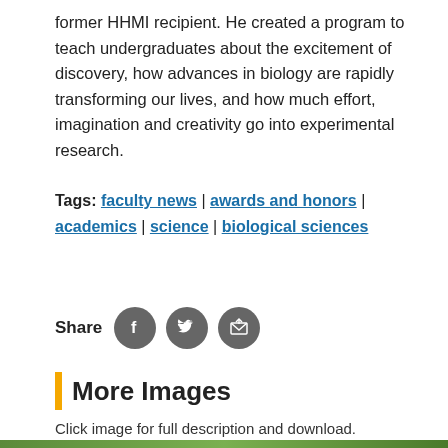former HHMI recipient. He created a program to teach undergraduates about the excitement of discovery, how advances in biology are rapidly transforming our lives, and how much effort, imagination and creativity go into experimental research.
Tags: faculty news | awards and honors | academics | science | biological sciences
[Figure (infographic): Share icons: Facebook, Twitter, and email/share buttons as dark grey circular icons with white symbols]
More Images
Click image for full description and download.
[Figure (photo): Bottom strip showing edge of a nature/outdoor photo, partially visible]